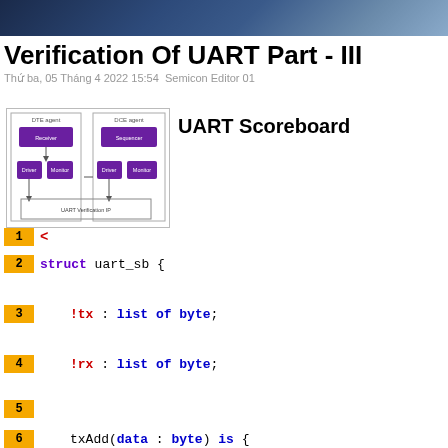Verification Of UART Part - III
Thứ ba, 05 Tháng 4 2022 15:54  Semicon Editor 01
[Figure (engineering-diagram): UART Verification IP block diagram showing DTE agent with Receiver and Driver/Monitor blocks, and DCE agent with Sequencer and Driver/Monitor blocks, connected to UART Verification IP]
UART Scoreboard
1  <
2  struct uart_sb {
3      !tx : list of byte;
4      !rx : list of byte;
5
6      txAdd(data : byte) is {